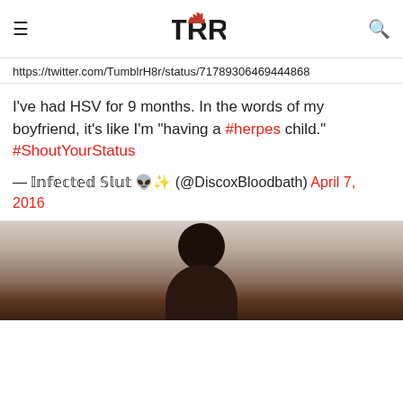TRR logo with hamburger menu and search icon
https://twitter.com/TumblrH8r/status/71789306469444868
I've had HSV for 9 months. In the words of my boyfriend, it's like I'm "having a #herpes child." #ShoutYourStatus
— 𝕀𝕟𝕗𝕖𝕔𝕥𝕖𝕕 𝕊𝕝𝕦𝕥 👽✨ (@DiscoxBloodbath) April 7, 2016
[Figure (photo): Photo of a person, partially visible, appears to be cropped at the bottom of the page.]